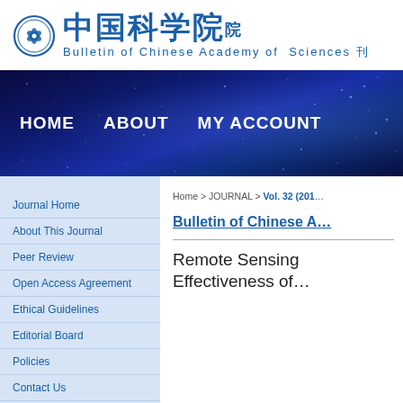[Figure (logo): Bulletin of Chinese Academy of Sciences logo with circular emblem and Chinese characters 中国科学院 plus text 'Bulletin of Chinese Academy of Sciences 刊']
[Figure (screenshot): Dark blue starfield navigation banner with menu items: HOME, ABOUT, MY ACCOUNT]
Journal Home
About This Journal
Peer Review
Open Access Agreement
Ethical Guidelines
Editorial Board
Policies
Contact Us
Home > JOURNAL > Vol. 32 (201...
Bulletin of Chinese A...
Remote Sensing Effectiveness of...